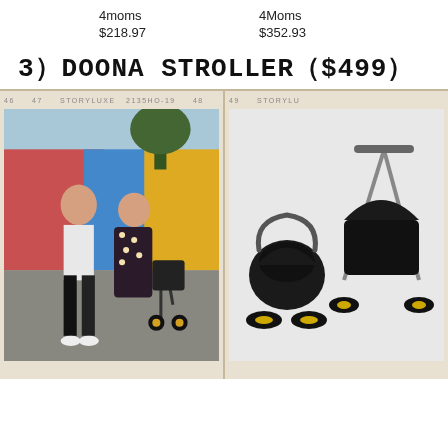4moms
$218.97
4Moms
$352.93
3）DOONA STROLLER（$499）
[Figure (photo): Film strip layout with two panels: left panel shows a couple walking with a Doona stroller outdoors with graffiti in background; right panel shows product shot of Doona stroller/car seat combo in black with gold wheels on white background. Film strip labels read STORYLUXE.]
STORYLUXE film strip style photo display